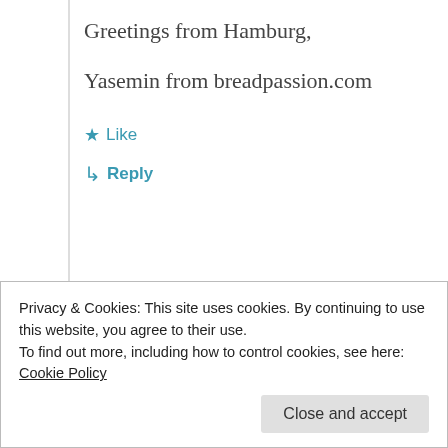Greetings from Hamburg,
Yasemin from breadpassion.com
★ Like
↳ Reply
hanseata
June 26, 2013 at 12:37 pm
Privacy & Cookies: This site uses cookies. By continuing to use this website, you agree to their use. To find out more, including how to control cookies, see here: Cookie Policy
Close and accept
have that in Germany, too.